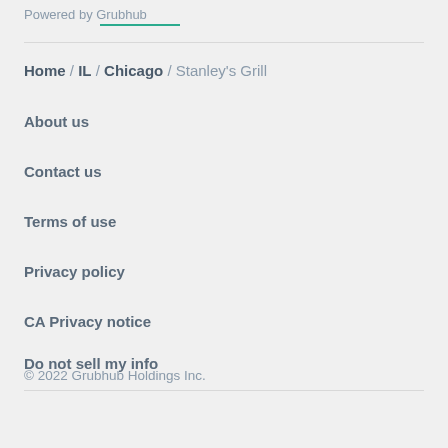Powered by Grubhub
Home / IL / Chicago / Stanley's Grill
About us
Contact us
Terms of use
Privacy policy
CA Privacy notice
Do not sell my info
© 2022 Grubhub Holdings Inc.